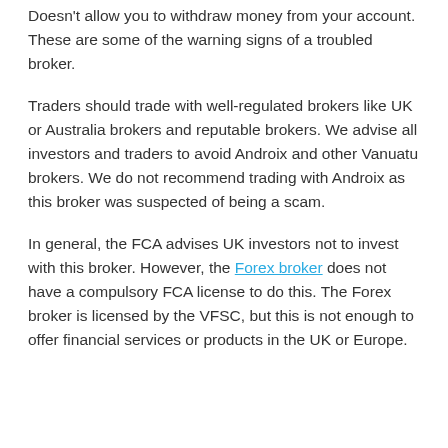Doesn't allow you to withdraw money from your account. These are some of the warning signs of a troubled broker.
Traders should trade with well-regulated brokers like UK or Australia brokers and reputable brokers. We advise all investors and traders to avoid Androix and other Vanuatu brokers. We do not recommend trading with Androix as this broker was suspected of being a scam.
In general, the FCA advises UK investors not to invest with this broker. However, the Forex broker does not have a compulsory FCA license to do this. The Forex broker is licensed by the VFSC, but this is not enough to offer financial services or products in the UK or Europe.